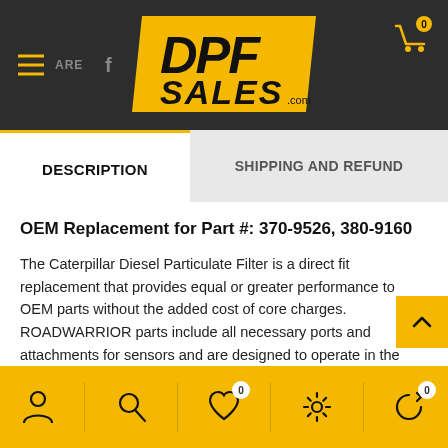DPF Sales .com
DESCRIPTION
SHIPPING AND REFUND
OEM Replacement for Part #: 370-9526, 380-9160
The Caterpillar Diesel Particulate Filter is a direct fit replacement that provides equal or greater performance to OEM parts without the added cost of core charges. ROADWARRIOR parts include all necessary ports and attachments for sensors and are designed to operate in the exact same capacity as the OEM part. The Caterpillar Diesel Particulate Filter is a new (not re-manufactured